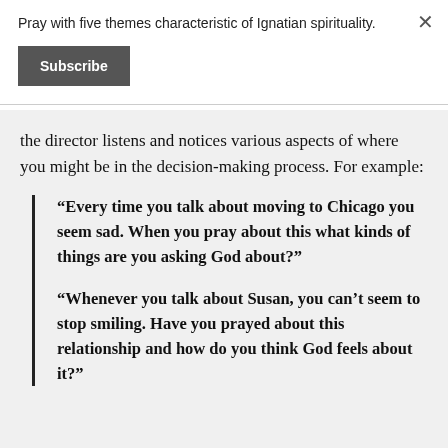Pray with five themes characteristic of Ignatian spirituality.
Subscribe
the director listens and notices various aspects of where you might be in the decision-making process. For example:
“Every time you talk about moving to Chicago you seem sad. When you pray about this what kinds of things are you asking God about?”
“Whenever you talk about Susan, you can’t seem to stop smiling. Have you prayed about this relationship and how do you think God feels about it?”